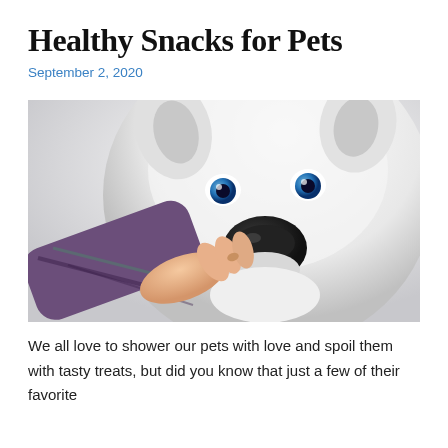Healthy Snacks for Pets
September 2, 2020
[Figure (photo): Close-up photo of a white dog (husky or similar breed) sniffing or taking a treat from a human hand. The dog has blue eyes and a black nose. The human is wearing a plaid shirt sleeve. Background is light/white.]
We all love to shower our pets with love and spoil them with tasty treats, but did you know that just a few of their favorite